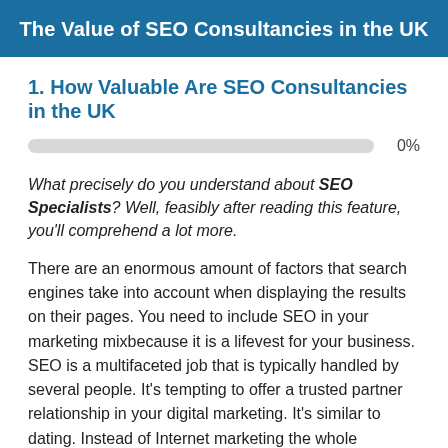The Value of SEO Consultancies in the UK
1. How Valuable Are SEO Consultancies in the UK
0%
What precisely do you understand about SEO Specialists? Well, feasibly after reading this feature, you'll comprehend a lot more.
There are an enormous amount of factors that search engines take into account when displaying the results on their pages. You need to include SEO in your marketing mixbecause it is a lifevest for your business. SEO is a multifaceted job that is typically handled by several people. It's tempting to offer a trusted partner relationship in your digital marketing. It's similar to dating. Instead of Internet marketing the whole relationship, start simply. While your competition